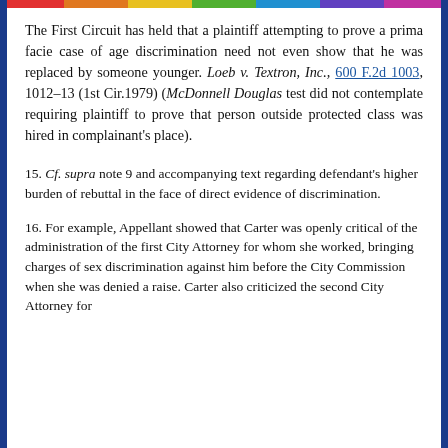The First Circuit has held that a plaintiff attempting to prove a prima facie case of age discrimination need not even show that he was replaced by someone younger. Loeb v. Textron, Inc., 600 F.2d 1003, 1012-13 (1st Cir.1979) (McDonnell Douglas test did not contemplate requiring plaintiff to prove that person outside protected class was hired in complainant's place).
15. Cf. supra note 9 and accompanying text regarding defendant's higher burden of rebuttal in the face of direct evidence of discrimination.
16. For example, Appellant showed that Carter was openly critical of the administration of the first City Attorney for whom she worked, bringing charges of sex discrimination against him before the City Commission when she was denied a raise. Carter also criticized the second City Attorney for